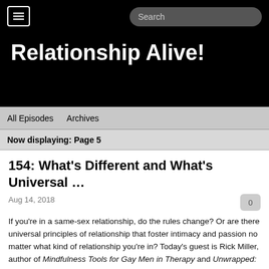Relationship Alive!
All Episodes   Archives
Now displaying: Page 5
154: What's Different and What's Universal …
Aug 14, 2018
If you're in a same-sex relationship, do the rules change? Or are there universal principles of relationship that foster intimacy and passion no matter what kind of relationship you're in? Today's guest is Rick Miller, author of Mindfulness Tools for Gay Men in Therapy and Unwrapped: Integrative Therapy with Gay Men. Rick Miller has also been featured at the Couples Conference, and is on the faculty for Esther Perel's Sessions Live 2018. Rick and I chat about the unique challenges faced by same-sex couples, particularly gay men in relationship. How do you address the uniqueness, while at the same time staying true to what we know about what works in